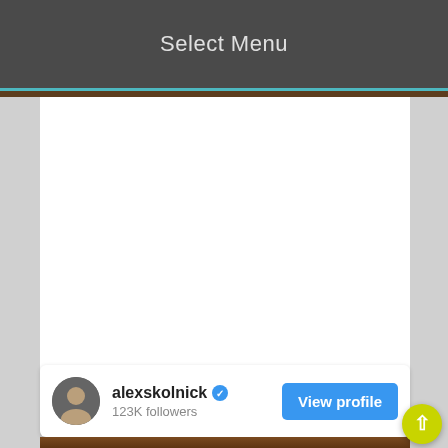Select Menu
[Figure (screenshot): White content area representing an app screen with brown strip and teal accent line below header]
alexskolnick  123K followers
[Figure (screenshot): View profile button - blue rounded rectangle with white text 'View profile']
[Figure (photo): Bottom partial image showing wooden surface with yellow circular object visible]